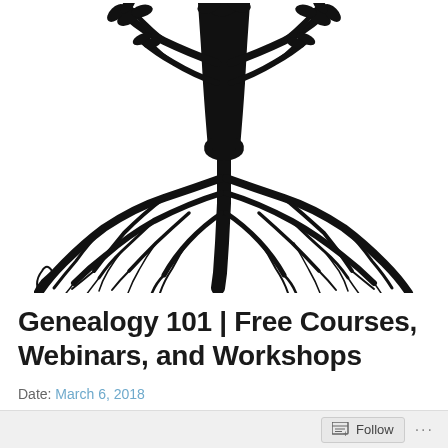[Figure (illustration): Black and white illustration of a tree with detailed branches, leaves at the top, and an elaborate root system spreading wide below ground. The image is cropped showing mainly the trunk, roots, and partial upper branches with leaves.]
Genealogy 101 | Free Courses, Webinars, and Workshops
Date: March 6, 2018
Author: ART | library deco
Follow ...